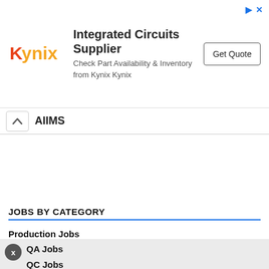[Figure (screenshot): Kynix advertisement banner: Integrated Circuits Supplier with Get Quote button]
AIIMS
JOBS BY CATEGORY
Production Jobs
R&D Jobs
F&D Jobs
Sales & Marketing
QA Jobs
QC Jobs
Faculty Jobs